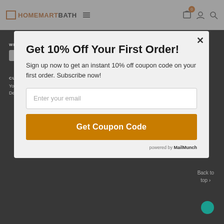[Figure (screenshot): HomeMartBath website header with logo, hamburger menu icon, and nav icons (cart with badge 0, user, search) on white background]
[Figure (screenshot): Dimmed website background showing WE USE SAFE PAYMENTS section with payment card icons (Visa, Electron, Maestro, PayPal, Mastercard, Maestro) and CUSTOMER SERVICES section with links: Your Account, Returns, Delivery, Privacy Policy]
Get 10% Off Your First Order!
Sign up now to get an instant 10% off coupon code on your first order. Subscribe now!
Enter your email
Get Coupon Code
powered by MailMunch